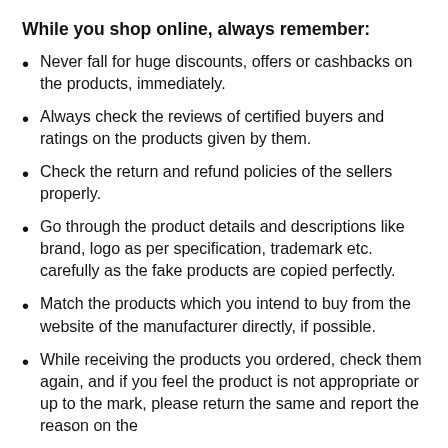While you shop online, always remember:
Never fall for huge discounts, offers or cashbacks on the products, immediately.
Always check the reviews of certified buyers and ratings on the products given by them.
Check the return and refund policies of the sellers properly.
Go through the product details and descriptions like brand, logo as per specification, trademark etc. carefully as the fake products are copied perfectly.
Match the products which you intend to buy from the website of the manufacturer directly, if possible.
While receiving the products you ordered, check them again, and if you feel the product is not appropriate or up to the mark, please return the same and report the reason on the